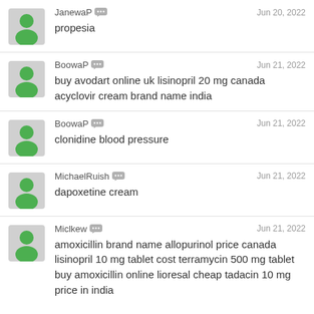JanewaP — Jun 20, 2022 — propesia
BoowaP — Jun 21, 2022 — buy avodart online uk lisinopril 20 mg canada acyclovir cream brand name india
BoowaP — Jun 21, 2022 — clonidine blood pressure
MichaelRuish — Jun 21, 2022 — dapoxetine cream
Miclkew — Jun 21, 2022 — amoxicillin brand name allopurinol price canada lisinopril 10 mg tablet cost terramycin 500 mg tablet buy amoxicillin online lioresal cheap tadacin 10 mg price in india